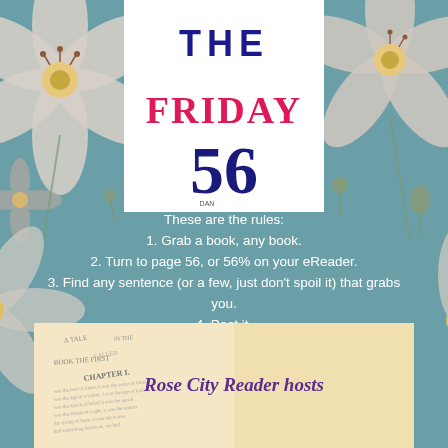[Figure (illustration): The Friday 56 logo with 'THE' in blue stamp letters, 'FRIDAY' in pink/magenta decorative font, and '56' in large dark blue numbers, on white background]
These are the rules:
1. Grab a book, any book.
2. Turn to page 56, or 56% on your eReader.
3. Find any sentence (or a few, just don't spoil it) that grabs you.
4. Post it.
5. Add the URL to your post in the link on Freda's most recent Friday 56 post.
[Figure (photo): Open book showing yellowed pages with 'A TALE' and 'CHAPTER 1' visible, with 'Rose City Reader hosts' text overlay in purple]